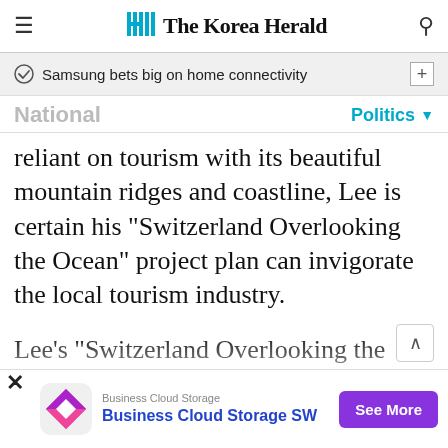The Korea Herald
Samsung bets big on home connectivity
National
Politics
reliant on tourism with its beautiful mountain ridges and coastline, Lee is certain his “Switzerland Overlooking the Ocean” project plan can invigorate the local tourism industry.
Lee’s “Switzerland Overlooking the Ocean” road map is a project worth 2 trillion won ($1.58 billion), involving setting up a hiking trail from Samcheok to Goseong, developing
[Figure (other): Advertisement banner for Business Cloud Storage SW with logo, text, and 'See More' button]